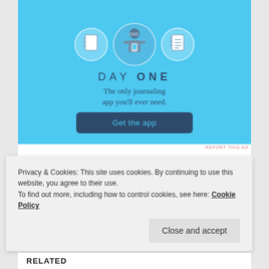[Figure (illustration): Day One journaling app advertisement banner with light blue background. Shows three circular icons (notebook, person using phone, checklist), the text 'DAY ONE', tagline 'The only journaling app you'll ever need.', and a dark blue 'Get the app' button.]
REPORT THIS AD
SHARE THIS:
Privacy & Cookies: This site uses cookies. By continuing to use this website, you agree to their use.
To find out more, including how to control cookies, see here: Cookie Policy
RELATED